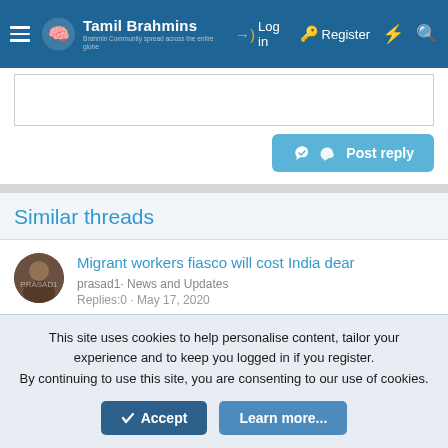[Figure (screenshot): Tamil Brahmins website header with logo, hamburger menu, Log in, Register, flash and search icons on dark blue background]
[Figure (screenshot): Post reply text input area with white text box and blue Post reply button]
Similar threads
[Figure (photo): User avatar for prasad1 - circular profile photo with dark tones]
Migrant workers fiasco will cost India dear
prasad1· News and Updates
Replies:0 · May 17, 2020
[Figure (illustration): Green circle avatar with letter P for pvguruvadhyar]
Out side India
pvguruvadhyar· Religion
Replies:1 · Jul 28, 2022
This site uses cookies to help personalise content, tailor your experience and to keep you logged in if you register.
By continuing to use this site, you are consenting to our use of cookies.